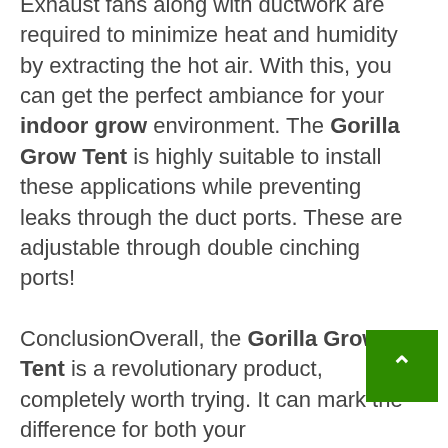Exhaust fans along with ductwork are required to minimize heat and humidity by extracting the hot air. With this, you can get the perfect ambiance for your indoor grow environment. The Gorilla Grow Tent is highly suitable to install these applications while preventing leaks through the duct ports. These are adjustable through double cinching ports!

ConclusionOverall, the Gorilla Grow Tent is a revolutionary product, completely worth trying. It can mark the difference for both your